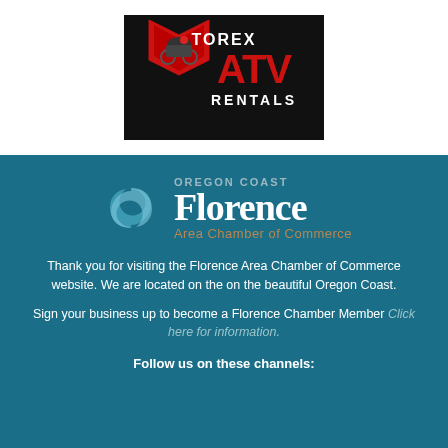[Figure (logo): Torex ATV Rentals logo — black background with red hexagon shape, ATV rider illustration, red and white text reading TOREX ATV RENTALS]
[Figure (logo): Oregon Coast Florence Area Chamber of Commerce logo — blue swirl icon on left, text OREGON COAST Florence Area Chamber of Commerce on right]
Thank you for visiting the Florence Area Chamber of Commerce website. We are located on the on the beautiful Oregon Coast.
Sign your business up to become a Florence Chamber Member Click here for information.
Follow us on these channels: